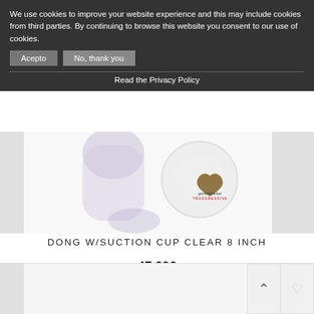We use cookies to improve your website experience and this may include cookies from third parties. By continuing to browse this website you consent to our use of cookies.
Acepto
No, thank you
Read the Privacy Policy
[Figure (photo): Product photo of a clear transparent dildo with suction cup, against white background. Generazione Trasgressiva brand logo (heart shape with text) visible in bottom right.]
DONG W/SUCTION CUP CLEAR 8 INCH
47,00€
ADD TO CART
[Figure (photo): Partial view of another product at bottom of page, partially cropped.]